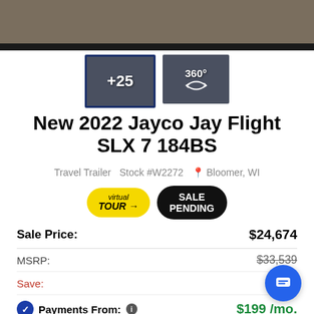[Figure (photo): Top background photo showing gravel/outdoor surface]
[Figure (photo): Thumbnail showing interior of RV with +25 overlay]
[Figure (photo): Thumbnail showing 360-degree view of RV interior]
New 2022 Jayco Jay Flight SLX 7 184BS
Travel Trailer   Stock #W2272   Bloomer, WI
[Figure (logo): Virtual Tour badge (yellow oval)]
[Figure (logo): Sale Pending badge (black rounded rectangle)]
| Label | Value |
| --- | --- |
| Sale Price: | $24,674 |
| MSRP: | $33,539 |
| Save: | $8,8__ |
| Payments From: | $199 /mo. |